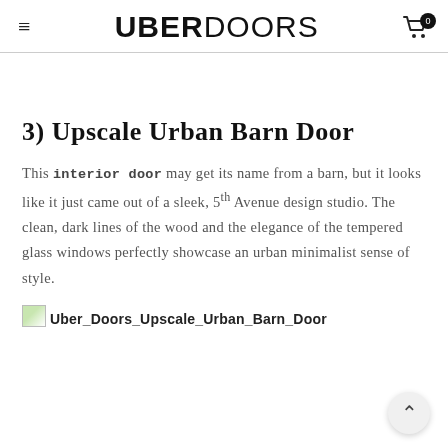UBERDOORS
3) Upscale Urban Barn Door
This interior door may get its name from a barn, but it looks like it just came out of a sleek, 5th Avenue design studio. The clean, dark lines of the wood and the elegance of the tempered glass windows perfectly showcase an urban minimalist sense of style.
[Figure (photo): Broken image placeholder icon followed by filename text: Uber_Doors_Upscale_Urban_Barn_Door]